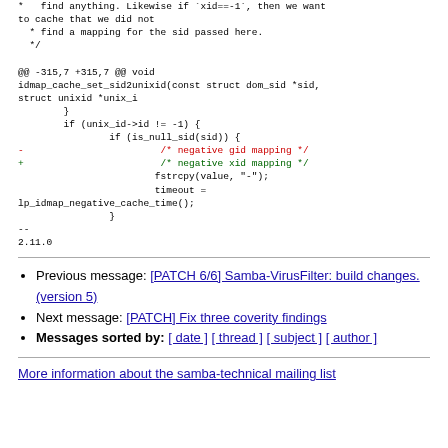* find anything. Likewise if `xid==-1`, then we want to cache that we did not
  * find a mapping for the sid passed here.
  */

@@ -315,7 +315,7 @@ void idmap_cache_set_sid2unixid(const struct dom_sid *sid, struct unixid *unix_i
        }
        if (unix_id->id != -1) {
                if (is_null_sid(sid)) {
-                        /* negative gid mapping */
+                        /* negative xid mapping */
                        fstrcpy(value, "-");
                        timeout =
lp_idmap_negative_cache_time();
                }
--
2.11.0
Previous message: [PATCH 6/6] Samba-VirusFilter: build changes. (version 5)
Next message: [PATCH] Fix three coverity findings
Messages sorted by: [ date ] [ thread ] [ subject ] [ author ]
More information about the samba-technical mailing list